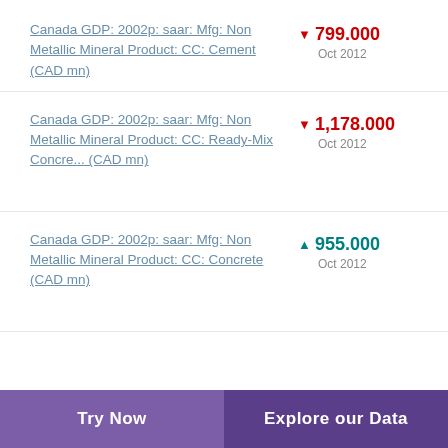Canada GDP: 2002p: saar: Mfg: Non Metallic Mineral Product: CC: Cement (CAD mn)
Canada GDP: 2002p: saar: Mfg: Non Metallic Mineral Product: CC: Ready-Mix Concre... (CAD mn)
Canada GDP: 2002p: saar: Mfg: Non Metallic Mineral Product: CC: Concrete (CAD mn)
Try Now | Explore our Data